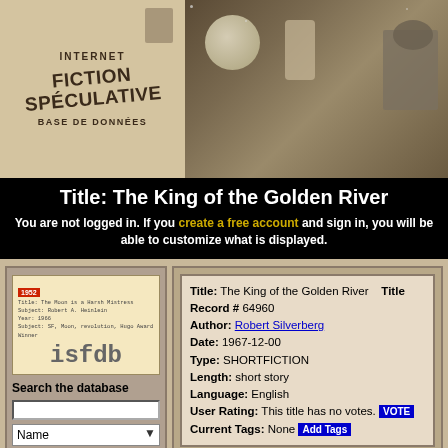[Figure (illustration): Internet Fiction Spéculative Base de Données logo on left with library card and 'isfdb' text, sci-fi space scene on right with astronauts and moon]
Title: The King of the Golden River
You are not logged in. If you create a free account and sign in, you will be able to customize what is displayed.
| Title: | The King of the Golden River | Title Record # | 64960 |
| Author: | Robert Silverberg |  |  |
| Date: | 1967-12-00 |  |  |
| Type: | SHORTFICTION |  |  |
| Length: | short story |  |  |
| Language: | English |  |  |
| User Rating: | This title has no votes. VOTE |  |  |
| Current Tags: | None Add Tags |  |  |
Other Titles
| Variant |
| --- |